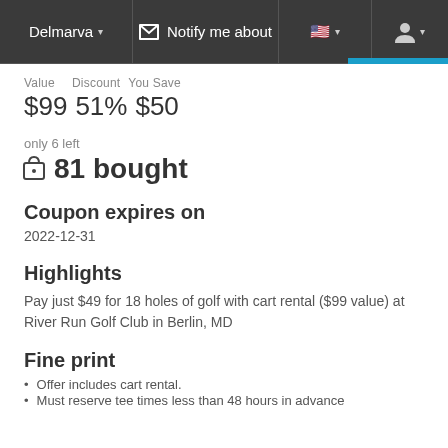Delmarva ▾   ✉ Notify me about   🇺🇸▾   👤▾
Value Discount You Save
$99  51%  $50
only 6 left
🛍 81 bought
Coupon expires on
2022-12-31
Highlights
Pay just $49 for 18 holes of golf with cart rental ($99 value) at River Run Golf Club in Berlin, MD
Fine print
Offer includes cart rental.
Must reserve tee times less than 48 hours in advance